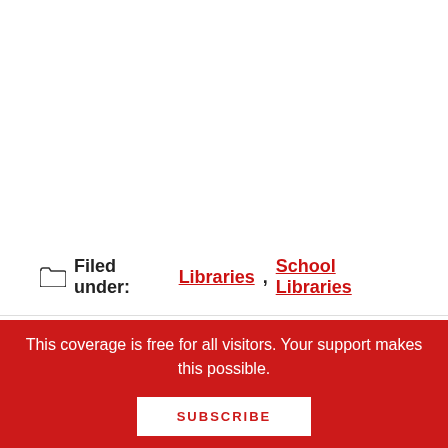Filed under: Libraries, School Libraries
This coverage is free for all visitors. Your support makes this possible.
SUBSCRIBE